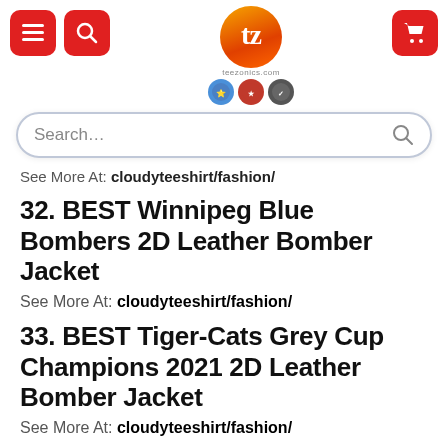Navigation header with menu, search, logo, and cart buttons
See More At: cloudyteeshirt/fashion/
32. BEST Winnipeg Blue Bombers 2D Leather Bomber Jacket
See More At: cloudyteeshirt/fashion/
33. BEST Tiger-Cats Grey Cup Champions 2021 2D Leather Bomber Jacket
See More At: cloudyteeshirt/fashion/
34. BEST Winnipeg Blue Bombers